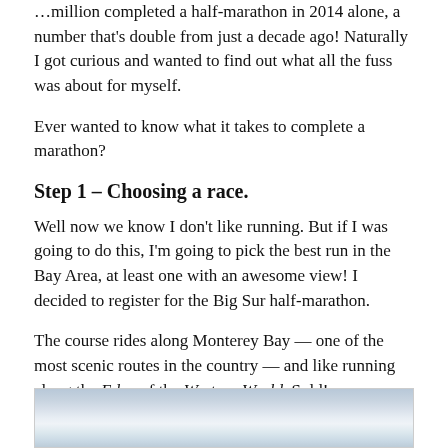...million completed a half-marathon in 2014 alone, a number that's double from just a decade ago! Naturally I got curious and wanted to find out what all the fuss was about for myself.
Ever wanted to know what it takes to complete a marathon?
Step 1 – Choosing a race.
Well now we know I don't like running. But if I was going to do this, I'm going to pick the best run in the Bay Area, at least one with an awesome view! I decided to register for the Big Sur half-marathon.
The course rides along Monterey Bay — one of the most scenic routes in the country — and like running along the Edge of the Western World. Sold!
[Figure (photo): Scenic photograph of Monterey Bay coastline with ocean and sky]